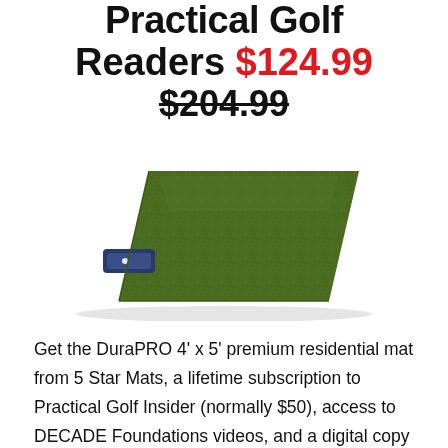Practical Golf Readers $124.99 $204.99
[Figure (photo): Green artificial grass golf mat with attached blue rubber tee holder, viewed from a slight overhead angle. The mat is rectangular and textured to simulate grass.]
Get the DuraPRO 4' x 5' premium residential mat from 5 Star Mats, a lifetime subscription to Practical Golf Insider (normally $50), access to DECADE Foundations videos, and a digital copy of our bestselling book - all